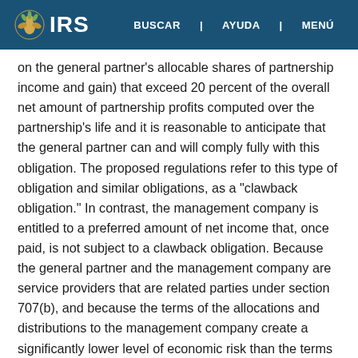IRS | BUSCAR | AYUDA | MENÚ
on the general partner's allocable shares of partnership income and gain) that exceed 20 percent of the overall net amount of partnership profits computed over the partnership's life and it is reasonable to anticipate that the general partner can and will comply fully with this obligation. The proposed regulations refer to this type of obligation and similar obligations, as a "clawback obligation." In contrast, the management company is entitled to a preferred amount of net income that, once paid, is not subject to a clawback obligation. Because the general partner and the management company are service providers that are related parties under section 707(b), and because the terms of the allocations and distributions to the management company create a significantly lower level of economic risk than the terms for the general partner, the management company's arrangement might properly be treated as a disguised payment for services (depending on all other facts and circumstances, including amount of entrepreneurial risk).